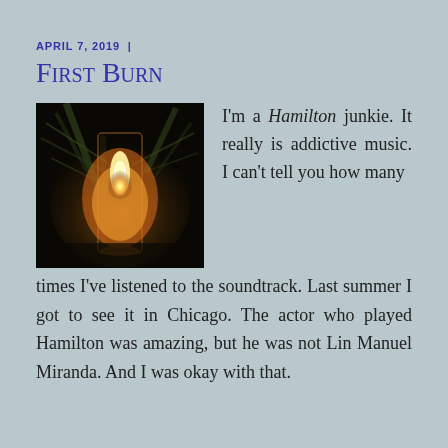APRIL 7, 2019  |
First Burn
[Figure (photo): Close-up photograph of a glowing candle flame inside a glass lantern surrounded by leaves, dark background]
I'm a Hamilton junkie. It really is addictive music. I can't tell you how many times I've listened to the soundtrack. Last summer I got to see it in Chicago. The actor who played Hamilton was amazing, but he was not Lin Manuel Miranda. And I was okay with that.